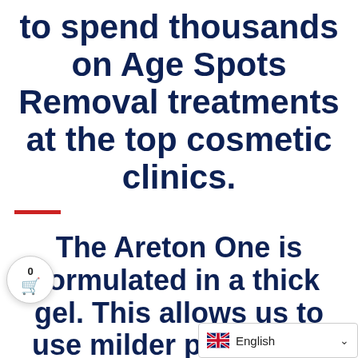to spend thousands on Age Spots Removal treatments at the top cosmetic clinics.
The Areton One is formulated in a thick gel. This allows us to use milder peels than those used in cosmetic clinics, whilst achieving the same results you would otherwise o...